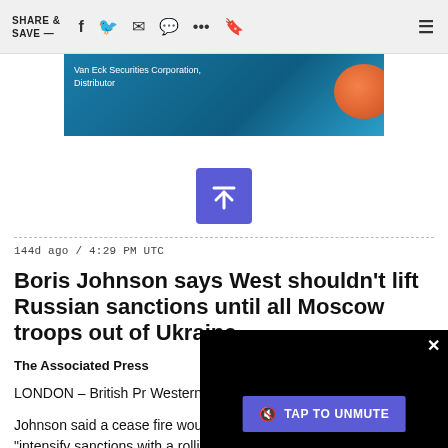SHARE & SAVE —
[Figure (screenshot): Van Eck Securities Corporation, Distributor advertisement banner with blue ocean background and orange buoy]
[Figure (other): Blue upload/scroll-to-top button with upward arrow icon]
144d ago / 4:29 PM UTC
Boris Johnson says West shouldn't lift Russian sanctions until all Moscow troops out of Ukraine
The Associated Press
LONDON – British Pr Western nations sho all Moscow's troops
[Figure (screenshot): Video overlay with black background and TAP TO UNMUTE button]
Johnson said a cease fire would not be enough, and the G-7 should "intensify sanctions with a rolling program